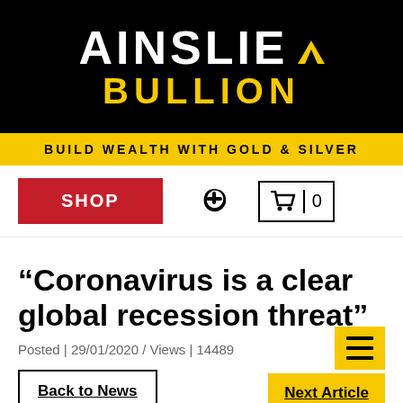[Figure (logo): Ainslie Bullion logo on black background with yellow triangle icon and yellow BULLION text]
BUILD WEALTH WITH GOLD & SILVER
SHOP
“Coronavirus is a clear global recession threat”
Posted | 29/01/2020 / Views | 14489
Back to News
Next Article